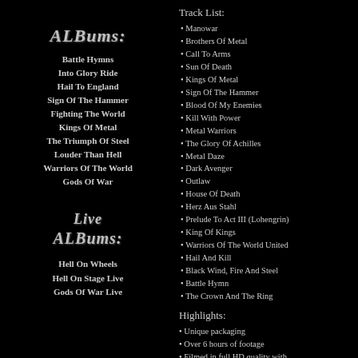ALBums:
Battle Hymns
Into Glory Ride
Hail To England
Sign Of The Hammer
Fighting The World
Kings Of Metal
The Triumph Of Steel
Louder Than Hell
Warriors Of The World
Gods Of War
Live ALBums:
Hell On Wheels
Hell On Stage Live
Gods Of War Live
Defender '83
All Men Play On Ten
Blow Your Speakers
Track List:
Manowar
Brothers Of Metal
Call To Arms
Sun Of Death
Kings Of Metal
Sign Of The Hammer
Blood Of My Enemies
Kill With Power
Metal Warriors
The Glory Of Achilles
Metal Daze
Dark Avenger
Outlaw
House Of Death
Herz Aus Stahl
Prelude To Act III (Lohengrin)
King Of Kings
Warriors Of The World United
Hail And Kill
Black Wind, Fire And Steel
Battle Hymn
The Crown And The Ring
Highlights:
Unique packaging
Over 6 hours of footage
Filmed in full HD quality with
MultiSlow Filter with 4x